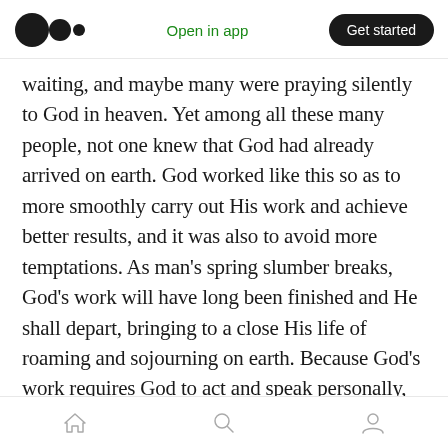Medium app header: logo, Open in app, Get started
waiting, and maybe many were praying silently to God in heaven. Yet among all these many people, not one knew that God had already arrived on earth. God worked like this so as to more smoothly carry out His work and achieve better results, and it was also to avoid more temptations. As man's spring slumber breaks, God's work will have long been finished and He shall depart, bringing to a close His life of roaming and sojourning on earth. Because God's work requires God to act and speak personally, and because there is no way for man to help, God
Home Search Profile navigation icons